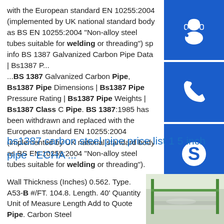with the European standard EN 10255:2004 (implemented by UK national standard body as BS EN 10255:2004 "Non-alloy steel tubes suitable for welding or threading") sp info BS 1387 Galvanized Carbon Pipe Data | Bs1387 P... ...BS 1387 Galvanized Carbon Pipe, Bs1387 Pipe Dimensions | Bs1387 Pipe Pressure Rating | Bs1387 Pipe Weights | Bs1387 Class C Pipe. BS 1387:1985 has been withdrawn and replaced with the European standard EN 10255:2004 (implemented by UK national standard body as BS EN 10255:2004 "Non-alloy steel tubes suitable for welding or threading").
[Figure (other): Three blue sidebar buttons: headset/customer service icon, phone icon, Skype icon]
bs1387 carbon steel pipe price list 1 5 inch pipe - ECHA ...
Wall Thickness (Inches) 0.562. Type. A53-B #/FT. 104.8. Length. 40' Quantity Unit of Measure Length Add to Quote Pipe. Carbon Steel
[Figure (photo): Photo of stacked steel pipes or metal sheets in a warehouse with green racks visible in background]